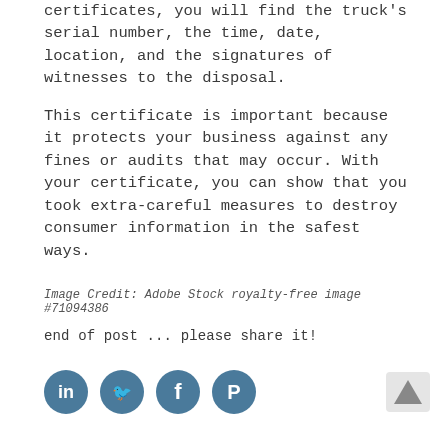certificates, you will find the truck's serial number, the time, date, location, and the signatures of witnesses to the disposal.
This certificate is important because it protects your business against any fines or audits that may occur. With your certificate, you can show that you took extra-careful measures to destroy consumer information in the safest ways.
Image Credit: Adobe Stock royalty-free image #71094386
end of post ... please share it!
[Figure (infographic): Four social media share icons (LinkedIn, Twitter, Facebook, Pinterest) as teal/blue circles with white logos, and a back-to-top arrow button on the right.]